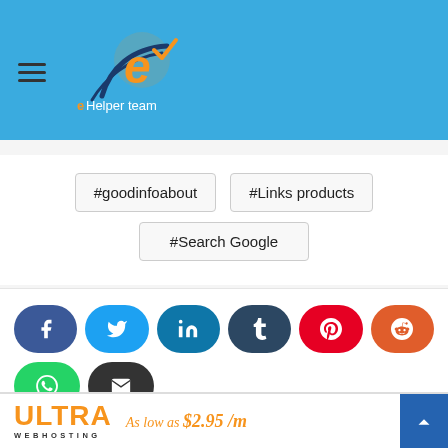[Figure (logo): eHelper team logo with orange 'e' letter graphic and text on blue header background]
#goodinfoabout
#Links products
#Search Google
[Figure (infographic): Social share buttons: Facebook (blue), Twitter (light blue), LinkedIn (teal), Tumblr (dark navy), Pinterest (red), Reddit (orange), WhatsApp (green), Email (dark gray)]
[Figure (infographic): Ultra Web Hosting advertisement banner: 'ULTRA WEBHOSTING' logo in orange, tagline 'As low as $2.95 /m', blue arrow button on right]